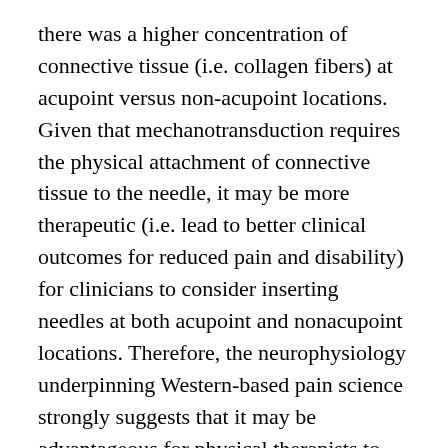there was a higher concentration of connective tissue (i.e. collagen fibers) at acupoint versus non-acupoint locations. Given that mechanotransduction requires the physical attachment of connective tissue to the needle, it may be more therapeutic (i.e. lead to better clinical outcomes for reduced pain and disability) for clinicians to consider inserting needles at both acupoint and nonacupoint locations. Therefore, the neurophysiology underpinning Western-based pain science strongly suggests that it may be advantageous for physical therapists to become familiar with acupoint terminology and location.
ATTORNEY GENERAL OPINIONS
Dry needling and acupuncture dramatically differ in their origins, theoretical and scientific underpinnings; however, "dry needling and acupuncture overlap in terms of needling technique